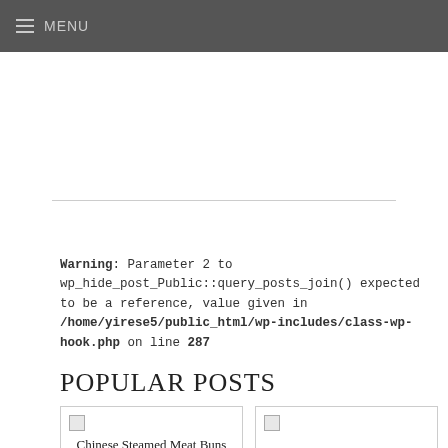MENU
Warning: Parameter 2 to wp_hide_post_Public::query_posts_join() expected to be a reference, value given in /home/yirese5/public_html/wp-includes/class-wp-hook.php on line 287
POPULAR POSTS
[Figure (photo): Post thumbnail for Chinese Steamed Meat Buns (Baozi) Recipe]
[Figure (photo): Post thumbnail placeholder (broken image)]